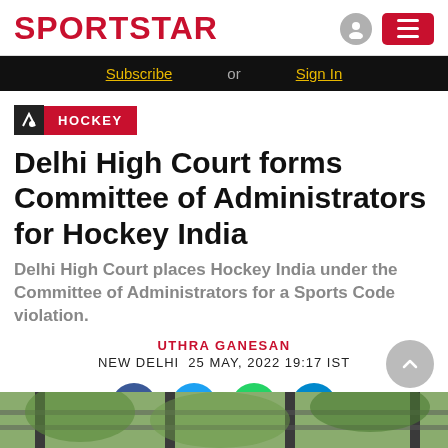SPORTSTAR
Subscribe or Sign In
HOCKEY
Delhi High Court forms Committee of Administrators for Hockey India
Delhi High Court places Hockey India under the Committee of Administrators for a Sports Code violation.
UTHRA GANESAN
NEW DELHI  25 MAY, 2022 19:17 IST
[Figure (illustration): Social sharing buttons: Facebook, Twitter, WhatsApp, Telegram]
[Figure (photo): Bottom strip showing a hockey field fence/goal post with green background]